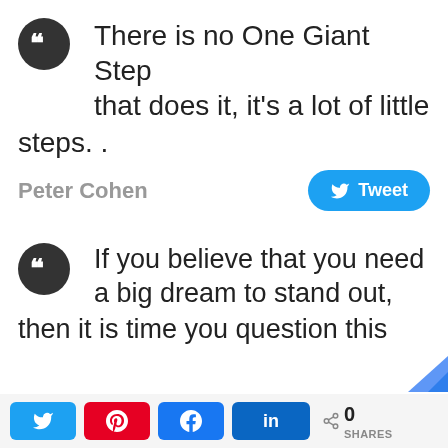There is no One Giant Step that does it, it's a lot of little steps. .
Peter Cohen
[Figure (other): Tweet button with Twitter bird icon]
If you believe that you need a big dream to stand out, then it is time you question this
[Figure (other): Social share bar with Twitter, Pinterest, Facebook, LinkedIn buttons and 0 SHARES count]